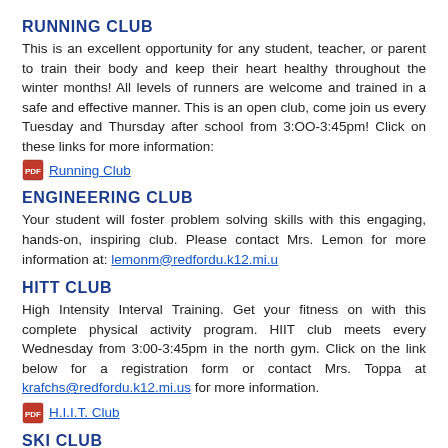RUNNING CLUB
This is an excellent opportunity for any student, teacher, or parent to train their body and keep their heart healthy throughout the winter months!  All levels of runners are welcome and trained in a safe and effective manner.  This is an open club, come join us every Tuesday and Thursday after school from 3:OO-3:45pm! Click on these links for more information:
Running Club
ENGINEERING CLUB
Your student will foster problem solving skills with this engaging, hands-on, inspiring club. Please contact Mrs. Lemon for more information at: lemonm@redfordu.k12.mi.u
HITT CLUB
High Intensity Interval Training.  Get your fitness on with this complete physical activity program.  HIIT club meets every Wednesday from 3:00-3:45pm in the north gym.  Click on the link below for a registration form or contact Mrs. Toppa at krafchs@redfordu.k12.mi.us for more information.
H.I.I.T. Club
SKI CLUB